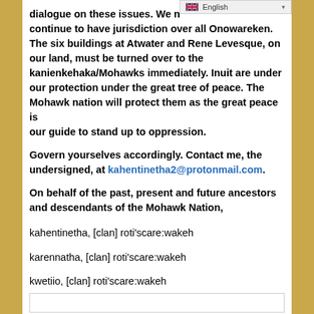dialogue on these issues. We n... continue to have jurisdiction over all Onowareken. The six buildings at Atwater and Rene Levesque, on our land, must be turned over to the kanienkehaka/Mohawks immediately. Inuit are under our protection under the great tree of peace. The Mohawk nation will protect them as the great peace is our guide to stand up to oppression.
Govern yourselves accordingly. Contact me, the undersigned, at kahentinetha2@protonmail.com.
On behalf of the past, present and future ancestors and descendants of the Mohawk Nation,
kahentinetha, [clan] roti'scare:wakeh
karennatha, [clan] roti'scare:wakeh
kwetiio, [clan] roti'scare:wakeh